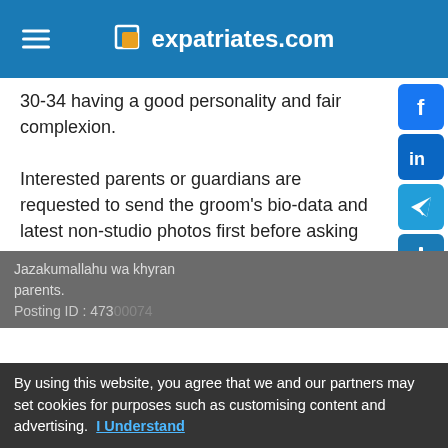expatriates.com
30-34 having a good personality and fair complexion.

Interested parents or guardians are requested to send the groom's bio-data and latest non-studio photos first before asking the bride's bid-data and photos to the below email address
email sunnimat1@gmail.com
Jazakumallahu wa khyran
parents.
Posting ID : 47300074
Email: sunnimat1@gmail.com
By using this website, you agree that we and our partners may set cookies for purposes such as customising content and advertising. I Understand